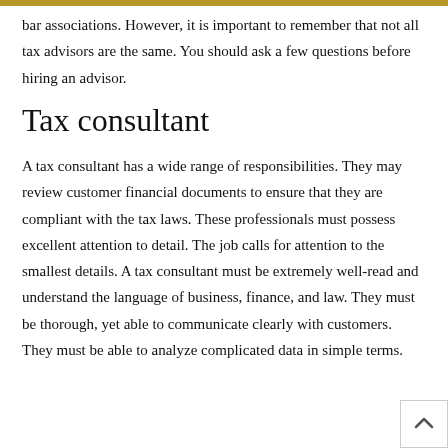bar associations. However, it is important to remember that not all tax advisors are the same. You should ask a few questions before hiring an advisor.
Tax consultant
A tax consultant has a wide range of responsibilities. They may review customer financial documents to ensure that they are compliant with the tax laws. These professionals must possess excellent attention to detail. The job calls for attention to the smallest details. A tax consultant must be extremely well-read and understand the language of business, finance, and law. They must be thorough, yet able to communicate clearly with customers. They must be able to analyze complicated data in simple terms.